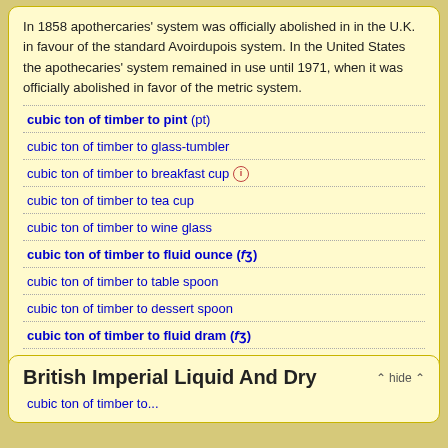In 1858 apothercaries' system was officially abolished in in the U.K. in favour of the standard Avoirdupois system. In the United States the apothecaries' system remained in use until 1971, when it was officially abolished in favor of the metric system.
cubic ton of timber to pint (pt)
cubic ton of timber to glass-tumbler
cubic ton of timber to breakfast cup [i]
cubic ton of timber to tea cup
cubic ton of timber to wine glass
cubic ton of timber to fluid ounce (fℨ)
cubic ton of timber to table spoon
cubic ton of timber to dessert spoon
cubic ton of timber to fluid dram (fℨ)
cubic ton of timber to tea spoon
cubic ton of timber to minim
British Imperial Liquid And Dry
cubic ton of timber to...